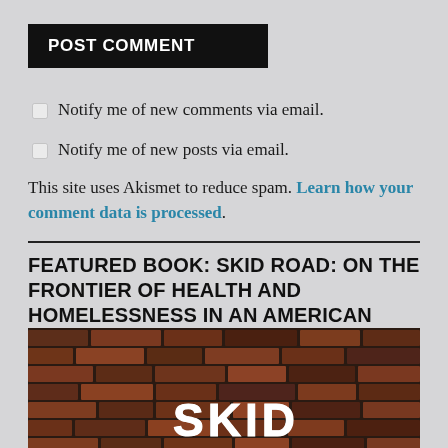POST COMMENT
Notify me of new comments via email.
Notify me of new posts via email.
This site uses Akismet to reduce spam. Learn how your comment data is processed.
FEATURED BOOK: SKID ROAD: ON THE FRONTIER OF HEALTH AND HOMELESSNESS IN AN AMERICAN CITY, AUGUST 2021
[Figure (photo): Book cover image showing a dark brick wall with the word SKID in large white distressed lettering]